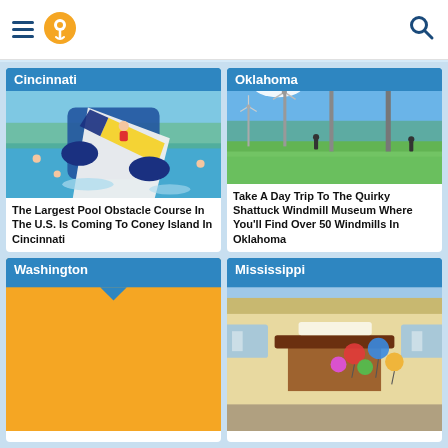Navigation bar with hamburger menu, location pin icon, and search icon
[Figure (photo): Water park pool with inflatable obstacle course slide, people in water - Cincinnati card]
The Largest Pool Obstacle Course In The U.S. Is Coming To Coney Island In Cincinnati
[Figure (photo): Field with multiple windmills against blue sky - Oklahoma card]
Take A Day Trip To The Quirky Shattuck Windmill Museum Where You'll Find Over 50 Windmills In Oklahoma
[Figure (photo): Yellow/orange map placeholder with location pin - Washington card]
[Figure (photo): Colorful small building with balloon decorations - Mississippi card]